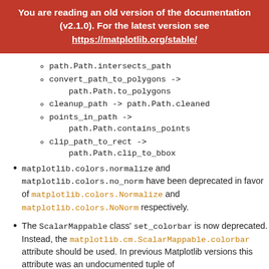You are reading an old version of the documentation (v2.1.0). For the latest version see https://matplotlib.org/stable/
path.Path.intersects_path
convert_path_to_polygons -> path.Path.to_polygons
cleanup_path -> path.Path.cleaned
points_in_path -> path.Path.contains_points
clip_path_to_rect -> path.Path.clip_to_bbox
matplotlib.colors.normalize and matplotlib.colors.no_norm have been deprecated in favor of matplotlib.colors.Normalize and matplotlib.colors.NoNorm respectively.
The ScalarMappable class' set_colorbar is now deprecated. Instead, the matplotlib.cm.ScalarMappable.colorbar attribute should be used. In previous Matplotlib versions this attribute was an undocumented tuple of (colorbar_instance, colorbar_axes) but is now just colorbar_instance. To ge